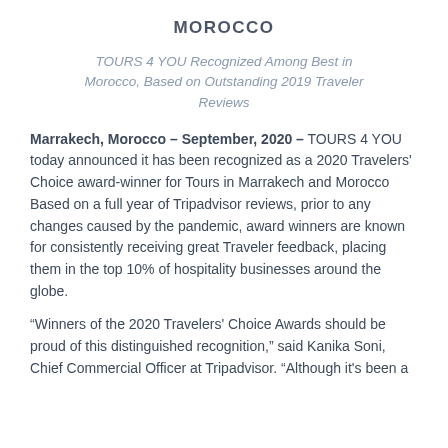MOROCCO
TOURS 4 YOU Recognized Among Best in Morocco, Based on Outstanding 2019 Traveler Reviews
Marrakech, Morocco – September, 2020 – TOURS 4 YOU today announced it has been recognized as a 2020 Travelers' Choice award-winner for Tours in Marrakech and Morocco Based on a full year of Tripadvisor reviews, prior to any changes caused by the pandemic, award winners are known for consistently receiving great Traveler feedback, placing them in the top 10% of hospitality businesses around the globe.
"Winners of the 2020 Travelers' Choice Awards should be proud of this distinguished recognition," said Kanika Soni, Chief Commercial Officer at Tripadvisor. "Although it's been a